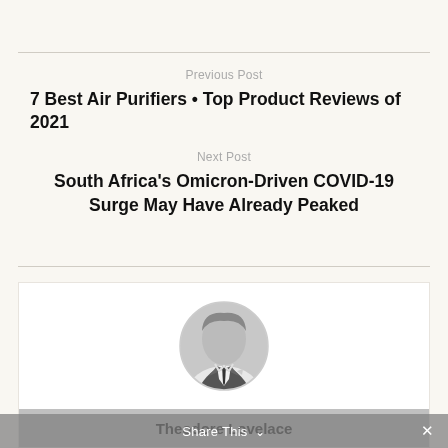Previous Post
7 Best Air Purifiers • Top Product Reviews of 2021
Next Post
South Africa's Omicron-Driven COVID-19 Surge May Have Already Peaked
[Figure (photo): Circular black and white headshot photo of Theodore Lovelace, a man in a suit with a tie]
Theodore Lovelace
Share This ×